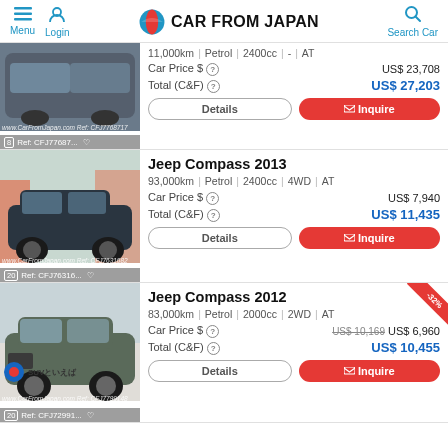Menu | Login | CAR FROM JAPAN | Search Car
Jeep Compass 2022 (Jul)
11,000km | Petrol | 2400cc | - | AT
Car Price $ ? US$ 23,708
Total (C&F) ? US$ 27,203
Ref: CFJ77687...
Jeep Compass 2013
93,000km | Petrol | 2400cc | 4WD | AT
Car Price $ ? US$ 7,940
Total (C&F) ? US$ 11,435
Ref: CFJ76316...
Jeep Compass 2012
83,000km | Petrol | 2000cc | 2WD | AT
Car Price $ ? US$ 10,169 US$ 6,960
Total (C&F) ? US$ 10,455
Ref: CFJ72991...